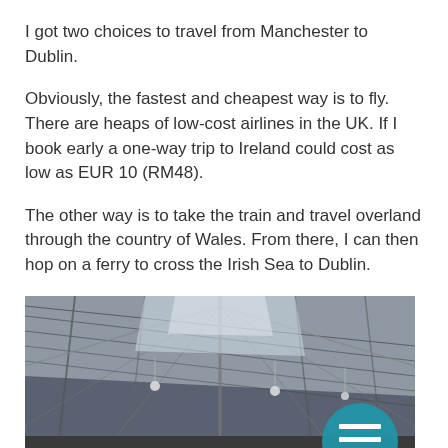I got two choices to travel from Manchester to Dublin.
Obviously, the fastest and cheapest way is to fly. There are heaps of low-cost airlines in the UK. If I book early a one-way trip to Ireland could cost as low as EUR 10 (RM48).
The other way is to take the train and travel overland through the country of Wales. From there, I can then hop on a ferry to cross the Irish Sea to Dublin.
[Figure (photo): Interior of a large train station with a glass and steel arched roof, structural columns, and a blue circular menu button overlay in the bottom right corner reading MENU with three white horizontal lines.]